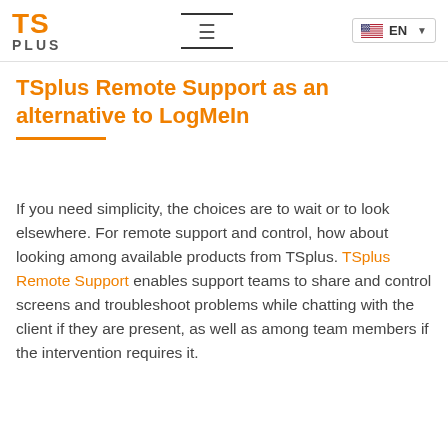TSplus | EN
TSplus Remote Support as an alternative to LogMeIn
If you need simplicity, the choices are to wait or to look elsewhere. For remote support and control, how about looking among available products from TSplus. TSplus Remote Support enables support teams to share and control screens and troubleshoot problems while chatting with the client if they are present, as well as among team members if the intervention requires it.
The simplest alternative to GoTo and LogMeIn